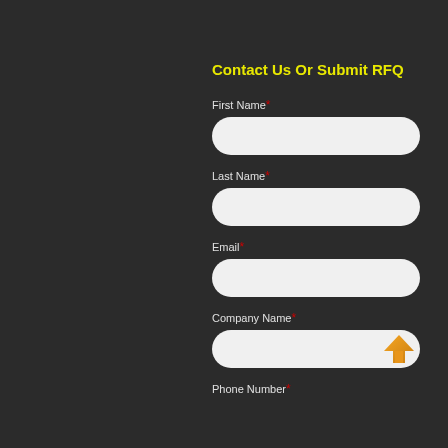Contact Us Or Submit RFQ
First Name*
Last Name*
Email*
Company Name*
Phone Number*